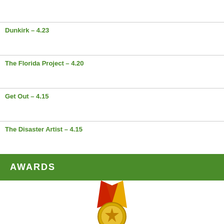Dunkirk – 4.23
The Florida Project – 4.20
Get Out – 4.15
The Disaster Artist – 4.15
AWARDS
[Figure (illustration): Gold medal with red and yellow ribbon]